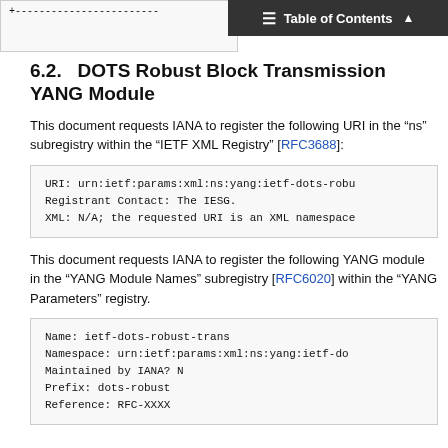[Figure (screenshot): Top navigation bar showing 'Table of Contents' with hamburger icon and up arrow, overlapping a partial code box showing dashed line content]
6.2.  DOTS Robust Block Transmission YANG Module
This document requests IANA to register the following URI in the "ns" subregistry within the "IETF XML Registry" [RFC3688]:
URI: urn:ietf:params:xml:ns:yang:ietf-dots-robu
Registrant Contact: The IESG.
XML: N/A; the requested URI is an XML namespace
This document requests IANA to register the following YANG module in the "YANG Module Names" subregistry [RFC6020] within the "YANG Parameters" registry.
Name: ietf-dots-robust-trans
Namespace: urn:ietf:params:xml:ns:yang:ietf-do
Maintained by IANA? N
Prefix: dots-robust
Reference: RFC-XXXX